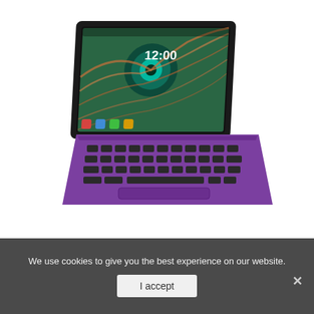[Figure (photo): RCA Galileo 11.5 inch 2-in-1 tablet with purple keyboard dock. The tablet screen shows a peacock feather wallpaper with time reading 12:00. The keyboard dock is purple/violet colored.]
2018 Newest Premium High Performance RCA Galileo 11.5" 2-in-1 Touchscreen Tablet PC Intel Q...
We use cookies to give you the best experience on our website.
I accept